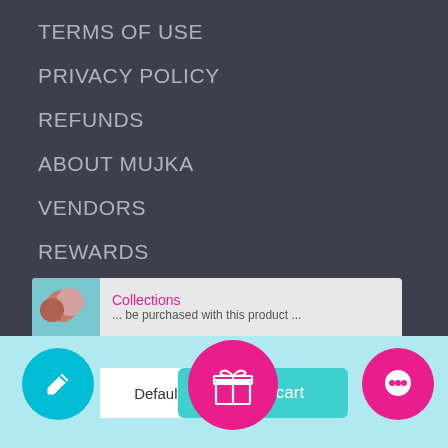TERMS OF USE
PRIVACY POLICY
REFUNDS
ABOUT MUJKA
VENDORS
REWARDS
FAN CLUB
CONTACT US
BECOME AN AMBASSADOR
Information
Collections
Default Title - $2...
Add to cart